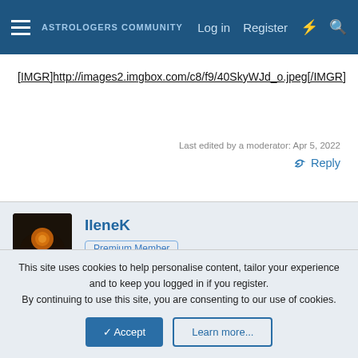ASTROLOGERS COMMUNITY  Log in  Register
[IMGR]http://images2.imgbox.com/c8/f9/40SkyWJd_o.jpeg[/IMGR]
Last edited by a moderator: Apr 5, 2022
Reply
IleneK
Premium Member
This site uses cookies to help personalise content, tailor your experience and to keep you logged in if you register.
By continuing to use this site, you are consenting to our use of cookies.
Accept  Learn more...